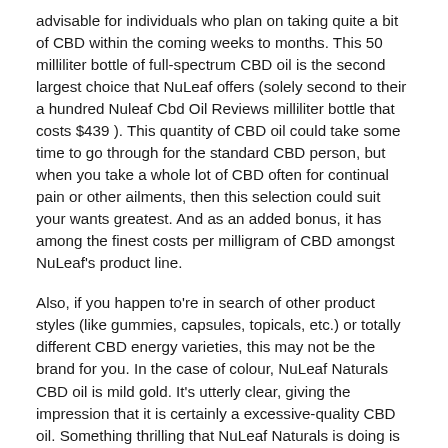advisable for individuals who plan on taking quite a bit of CBD within the coming weeks to months. This 50 milliliter bottle of full-spectrum CBD oil is the second largest choice that NuLeaf offers (solely second to their a hundred Nuleaf Cbd Oil Reviews milliliter bottle that costs $439 ). This quantity of CBD oil could take some time to go through for the standard CBD person, but when you take a whole lot of CBD often for continual pain or other ailments, then this selection could suit your wants greatest. And as an added bonus, it has among the finest costs per milligram of CBD amongst NuLeaf's product line.
Also, if you happen to're in search of other product styles (like gummies, capsules, topicals, etc.) or totally different CBD energy varieties, this may not be the brand for you. In the case of colour, NuLeaf Naturals CBD oil is mild gold. It's utterly clear, giving the impression that it is certainly a excessive-quality CBD oil. Something thrilling that NuLeaf Naturals is doing is utilizing superior cloning packages, for their hemp, to make their growing and harvesting course of as organic, potent, and constant as doable. Doing this additionally offers them the flexibility to make their hemp and oil as safe as potential for his or her customers.